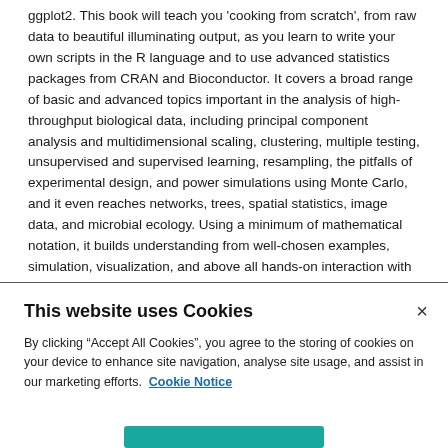ggplot2. This book will teach you 'cooking from scratch', from raw data to beautiful illuminating output, as you learn to write your own scripts in the R language and to use advanced statistics packages from CRAN and Bioconductor. It covers a broad range of basic and advanced topics important in the analysis of high-throughput biological data, including principal component analysis and multidimensional scaling, clustering, multiple testing, unsupervised and supervised learning, resampling, the pitfalls of experimental design, and power simulations using Monte Carlo, and it even reaches networks, trees, spatial statistics, image data, and microbial ecology. Using a minimum of mathematical notation, it builds understanding from well-chosen examples, simulation, visualization, and above all hands-on interaction with data and code.
> Read more
This website uses Cookies
By clicking "Accept All Cookies", you agree to the storing of cookies on your device to enhance site navigation, analyse site usage, and assist in our marketing efforts.  Cookie Notice